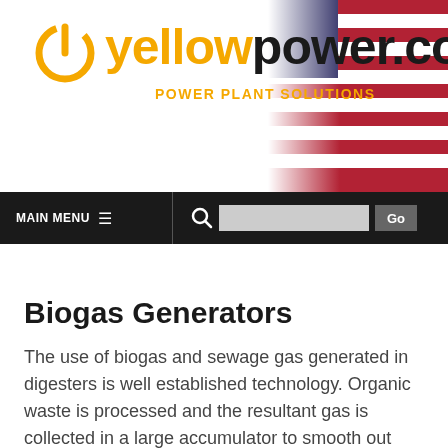[Figure (logo): yellowpower.com logo with orange power button icon, yellow 'yellow' text and black 'power.com' text, orange tagline 'POWER PLANT SOLUTIONS'. American flag image in top right corner.]
MAIN MENU  🔍  Go
Biogas Generators
The use of biogas and sewage gas generated in digesters is well established technology. Organic waste is processed and the resultant gas is collected in a large accumulator to smooth out fluctuations in production. This is then either fed into